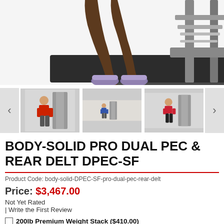[Figure (photo): Main product image showing a person using the Body-Solid Pro Dual Pec & Rear Delt DPEC-SF exercise machine, view from the waist/legs down, with the machine visible on a dark mat.]
[Figure (photo): Three thumbnail images of the Body-Solid DPEC-SF machine showing different users and angles, with left and right navigation arrows.]
BODY-SOLID PRO DUAL PEC & REAR DELT DPEC-SF
Product Code: body-solid-DPEC-SF-pro-dual-pec-rear-delt
Price: $3,467.00
Not Yet Rated
| Write the First Review
200lb Premium Weight Stack ($410.00)